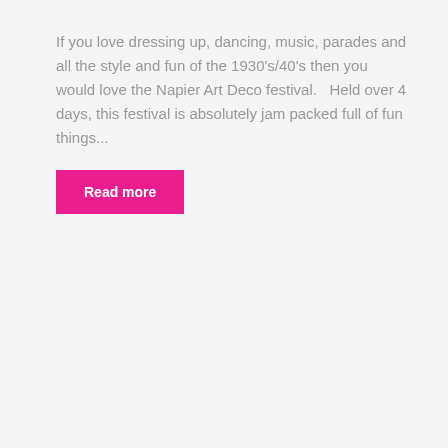If you love dressing up, dancing, music, parades and all the style and fun of the 1930's/40's then you would love the Napier Art Deco festival.   Held over 4 days, this festival is absolutely jam packed full of fun things...
Read more